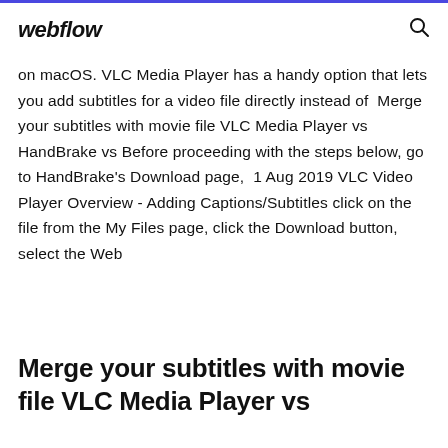webflow
on macOS. VLC Media Player has a handy option that lets you add subtitles for a video file directly instead of  Merge your subtitles with movie file VLC Media Player vs HandBrake vs Before proceeding with the steps below, go to HandBrake's Download page,  1 Aug 2019 VLC Video Player Overview - Adding Captions/Subtitles click on the file from the My Files page, click the Download button, select the Web
Merge your subtitles with movie file VLC Media Player vs